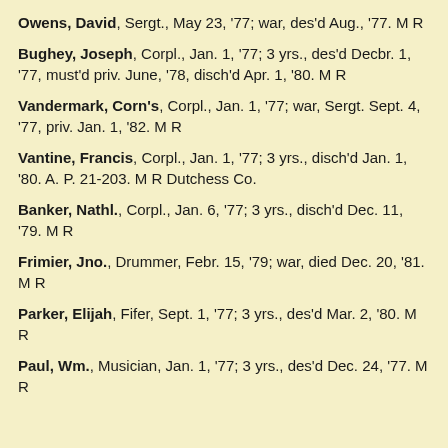Owens, David, Sergt., May 23, '77; war, des'd Aug., '77. M R
Bughey, Joseph, Corpl., Jan. 1, '77; 3 yrs., des'd Decbr. 1, '77, must'd priv. June, '78, disch'd Apr. 1, '80. M R
Vandermark, Corn's, Corpl., Jan. 1, '77; war, Sergt. Sept. 4, '77, priv. Jan. 1, '82. M R
Vantine, Francis, Corpl., Jan. 1, '77; 3 yrs., disch'd Jan. 1, '80. A. P. 21-203. M R Dutchess Co.
Banker, Nathl., Corpl., Jan. 6, '77; 3 yrs., disch'd Dec. 11, '79. M R
Frimier, Jno., Drummer, Febr. 15, '79; war, died Dec. 20, '81. M R
Parker, Elijah, Fifer, Sept. 1, '77; 3 yrs., des'd Mar. 2, '80. M R
Paul, Wm., Musician, Jan. 1, '77; 3 yrs., des'd Dec. 24, '77. M R